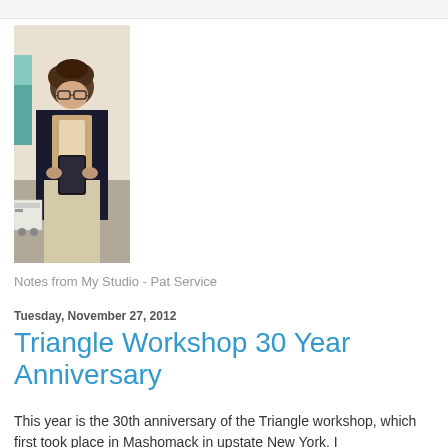[Figure (photo): Person taking a mirror selfie in a studio, wearing dark jacket, scarf, glasses, holding a smartphone, light-colored pants, art supplies visible in background]
Notes from My Studio - Pat Service
Tuesday, November 27, 2012
Triangle Workshop 30 Year Anniversary
This year is the 30th anniversary of the Triangle workshop, which first took place in Mashomack in upstate New York. I